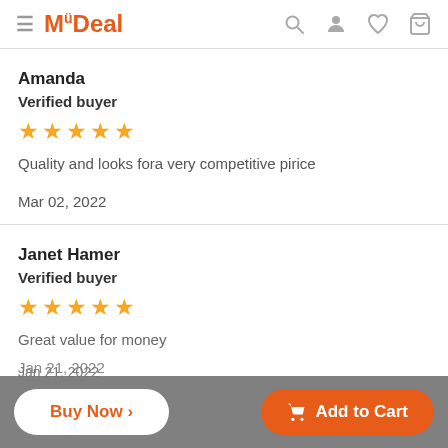MyDeal
Amanda
Verified buyer
★★★★★
Quality and looks fora very competitive pirice
Mar 02, 2022
Janet Hamer
Verified buyer
★★★★★
Great value for money
Jan 21, 2022